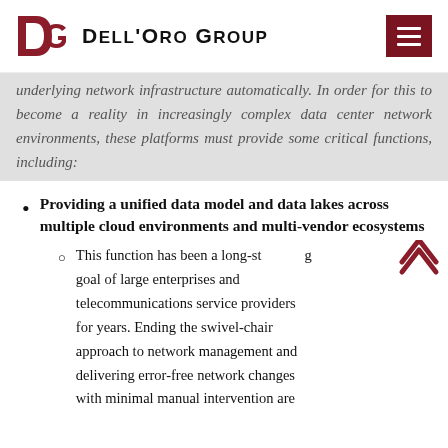Dell'Oro Group
underlying network infrastructure automatically. In order for this to become a reality in increasingly complex data center network environments, these platforms must provide some critical functions, including:
Providing a unified data model and data lakes across multiple cloud environments and multi-vendor ecosystems
This function has been a long-standing goal of large enterprises and telecommunications service providers for years. Ending the swivel-chair approach to network management and delivering error-free network changes with minimal manual intervention are